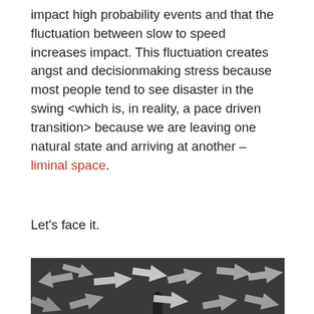impact high probability events and that the fluctuation between slow to speed increases impact. This fluctuation creates angst and decisionmaking stress because most people tend to see disaster in the swing <which is, in reality, a pace driven transition> because we are leaving one natural state and arriving at another – liminal space.
Let's face it.
[Figure (photo): Black and white photo showing multiple arrow-shaped cutouts pointing in various directions on a dark background, with a person silhouette visible at the bottom center.]